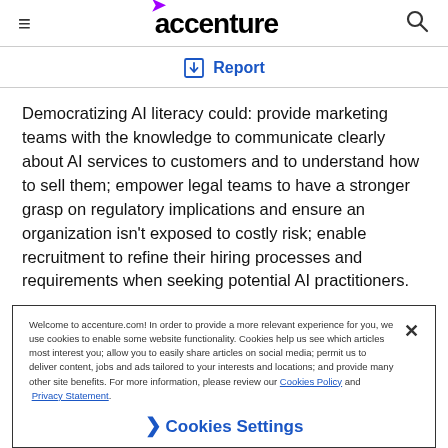accenture
Report
Democratizing AI literacy could: provide marketing teams with the knowledge to communicate clearly about AI services to customers and to understand how to sell them; empower legal teams to have a stronger grasp on regulatory implications and ensure an organization isn't exposed to costly risk; enable recruitment to refine their hiring processes and requirements when seeking potential AI practitioners.

It should go without saying that building AI literacy needs to
Welcome to accenture.com! In order to provide a more relevant experience for you, we use cookies to enable some website functionality. Cookies help us see which articles most interest you; allow you to easily share articles on social media; permit us to deliver content, jobs and ads tailored to your interests and locations; and provide many other site benefits. For more information, please review our Cookies Policy and Privacy Statement.
Cookies Settings